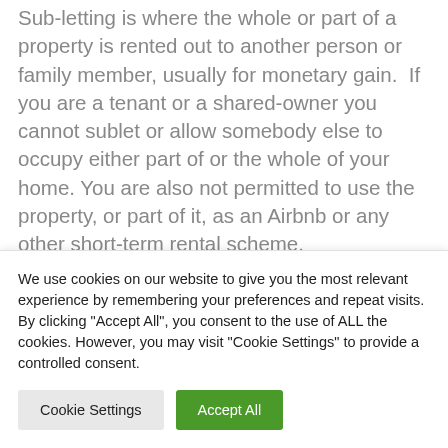Sub-letting is where the whole or part of a property is rented out to another person or family member, usually for monetary gain.  If you are a tenant or a shared-owner you cannot sublet or allow somebody else to occupy either part of or the whole of your home. You are also not permitted to use the property, or part of it, as an Airbnb or any other short-term rental scheme.
If you sub-let your property you are breaking the
We use cookies on our website to give you the most relevant experience by remembering your preferences and repeat visits. By clicking "Accept All", you consent to the use of ALL the cookies. However, you may visit "Cookie Settings" to provide a controlled consent.